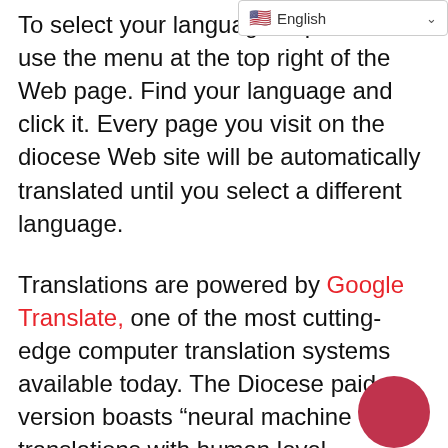[Figure (screenshot): Language selector dropdown showing English with US flag and chevron]
To select your language of preference, use the menu at the top right of the Web page. Find your language and click it. Every page you visit on the diocese Web site will be automatically translated until you select a different language.
Translations are powered by Google Translate, one of the most cutting-edge computer translation systems available today. The Diocese paid version boasts “neural machine translations with human level translation quality.”
However, computer-generated translations are never perfect. The diocese is recruiting volunteer translators to help fine tune translated Web pages. Out site gives us the ability to edit translations